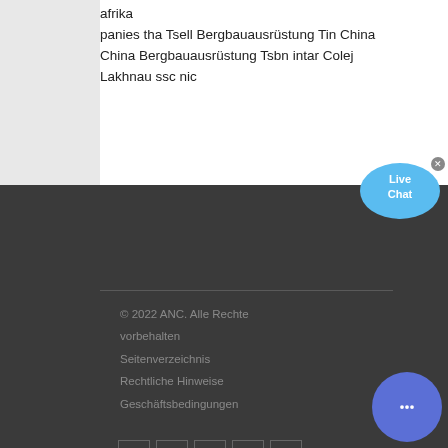afrika
panies tha Tsell Bergbauausrüstung Tin China China Bergbauausrüstung Tsbn intar Colej Lakhnau ssc nic
[Figure (other): Live Chat speech bubble widget with blue color scheme and X close button]
© 2022 ANC. Alle Rechte vorbehalten
Seitenverzeichnis
Rechtliche Hinweise
Geschäftsbedingungen
[Figure (other): Social media icons: Twitter, Facebook, LinkedIn, grid icon, Vimeo — outlined in gray on dark background]
[Figure (other): Blue circular chat button with speech bubble dots icon]